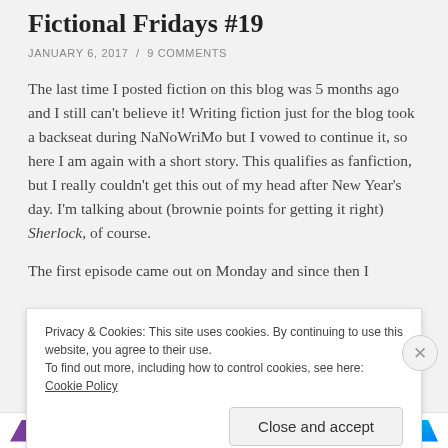Fictional Fridays #19
JANUARY 6, 2017  /  9 COMMENTS
The last time I posted fiction on this blog was 5 months ago and I still can't believe it! Writing fiction just for the blog took a backseat during NaNoWriMo but I vowed to continue it, so here I am again with a short story. This qualifies as fanfiction, but I really couldn't get this out of my head after New Year's day. I'm talking about (brownie points for getting it right) Sherlock, of course.
The first episode came out on Monday and since then I
Privacy & Cookies: This site uses cookies. By continuing to use this website, you agree to their use.
To find out more, including how to control cookies, see here: Cookie Policy
Close and accept